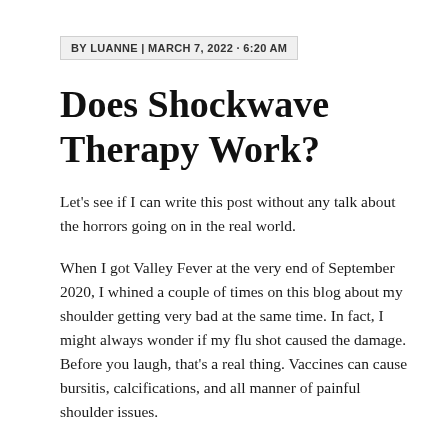BY LUANNE | MARCH 7, 2022 · 6:20 AM
Does Shockwave Therapy Work?
Let's see if I can write this post without any talk about the horrors going on in the real world.
When I got Valley Fever at the very end of September 2020, I whined a couple of times on this blog about my shoulder getting very bad at the same time. In fact, I might always wonder if my flu shot caused the damage. Before you laugh, that's a real thing. Vaccines can cause bursitis, calcifications, and all manner of painful shoulder issues. I suppose I should finally